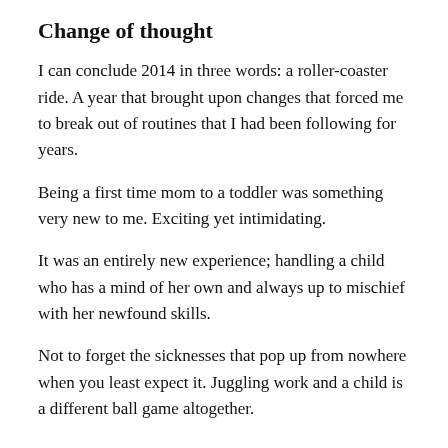Change of thought
I can conclude 2014 in three words: a roller-coaster ride. A year that brought upon changes that forced me to break out of routines that I had been following for years.
Being a first time mom to a toddler was something very new to me. Exciting yet intimidating.
It was an entirely new experience; handling a child who has a mind of her own and always up to mischief with her newfound skills.
Not to forget the sicknesses that pop up from nowhere when you least expect it. Juggling work and a child is a different ball game altogether.